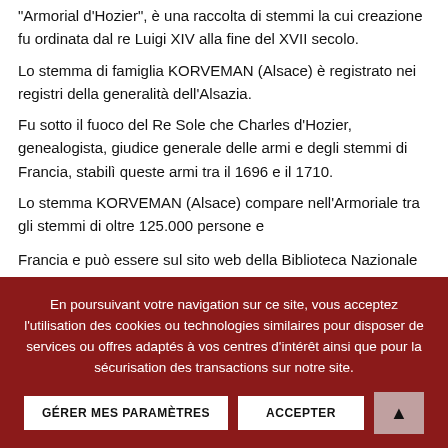"Armorial d'Hozier", è una raccolta di stemmi la cui creazione fu ordinata dal re Luigi XIV alla fine del XVII secolo.
Lo stemma di famiglia KORVEMAN (Alsace) è registrato nei registri della generalità dell'Alsazia.
Fu sotto il fuoco del Re Sole che Charles d'Hozier, genealogista, giudice generale delle armi e degli stemmi di Francia, stabilì queste armi tra il 1696 e il 1710.
Lo stemma KORVEMAN (Alsace) compare nell'Armoriale tra gli stemmi di oltre 125.000 persone e...
En poursuivant votre navigation sur ce site, vous acceptez l'utilisation des cookies ou technologies similaires pour disposer de services ou offres adaptés à vos centres d'intérêt ainsi que pour la sécurisation des transactions sur notre site.
Francia e può essere sul sito web della Biblioteca Nazionale di Francia.
https://gallica.bnf.fr/ark:/12148/bpt6k1105860/f2.item